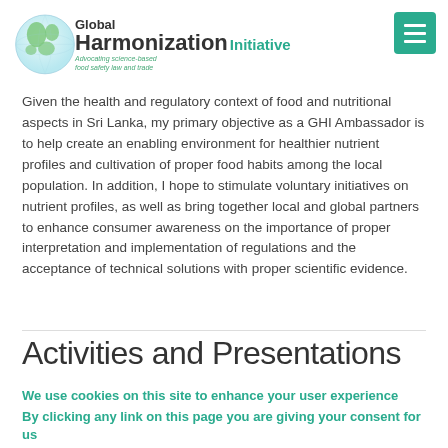[Figure (logo): Global Harmonization Initiative logo with globe graphic and teal/green text]
Given the health and regulatory context of food and nutritional aspects in Sri Lanka, my primary objective as a GHI Ambassador is to help create an enabling environment for healthier nutrient profiles and cultivation of proper food habits among the local population. In addition, I hope to stimulate voluntary initiatives on nutrient profiles, as well as bring together local and global partners to enhance consumer awareness on the importance of proper interpretation and implementation of regulations and the acceptance of technical solutions with proper scientific evidence.
Activities and Presentations
We use cookies on this site to enhance your user experience
By clicking any link on this page you are giving your consent for us